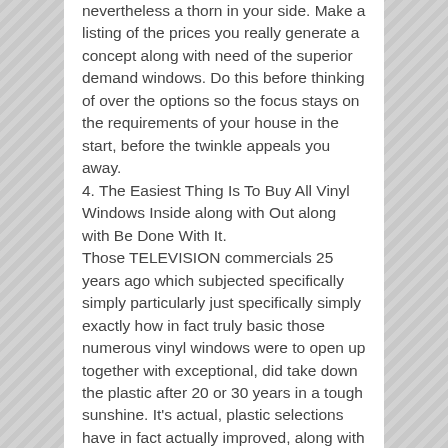nevertheless a thorn in your side. Make a listing of the prices you really generate a concept along with need of the superior demand windows. Do this before thinking of over the options so the focus stays on the requirements of your house in the start, before the twinkle appeals you away.
4. The Easiest Thing Is To Buy All Vinyl Windows Inside along with Out along with Be Done With It.
Those TELEVISION commercials 25 years ago which subjected specifically simply particularly just specifically simply exactly how in fact truly basic those numerous vinyl windows were to open up together with exceptional, did take down the plastic after 20 or 30 years in a tough sunshine. It's actual, plastic selections have in fact actually improved, along with are truly power